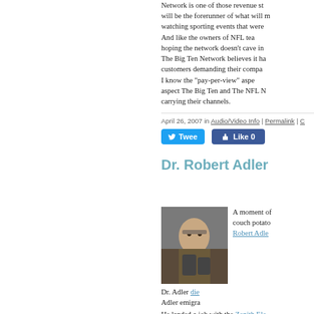Network is one of those revenue streams that will be the forerunner of what will make watching sporting events that were...
    And like the owners of NFL teams, hoping the network doesn't cave in... The Big Ten Network believes it has customers demanding their compa...
    I know the "pay-per-view" aspect... aspect The Big Ten and The NFL N... carrying their channels.
April 26, 2007 in Audio/Video Info | Permalink | C...
[Figure (other): Twitter Tweet button and Facebook Like 0 button]
Dr. Robert Adler
[Figure (photo): Photo of Dr. Robert Adler, an elderly man in a suit holding electronic devices]
A moment of... couch potato... Robert Adle...
Dr. Adler die... Adler emigra... He landed a job with the Zenith Ele... communication projects for the U.S...